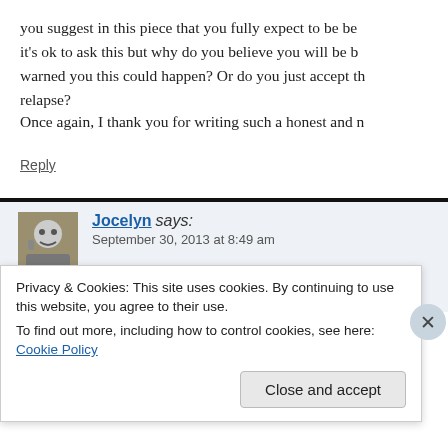you suggest in this piece that you fully expect to be be... it's ok to ask this but why do you believe you will be b... warned you this could happen? Or do you just accept th... relapse?
Once again, I thank you for writing such a honest and r...
Reply
Jocelyn says: September 30, 2013 at 8:49 am
And thank you for the kind words, Annie. I...
Privacy & Cookies: This site uses cookies. By continuing to use this website, you agree to their use.
To find out more, including how to control cookies, see here: Cookie Policy